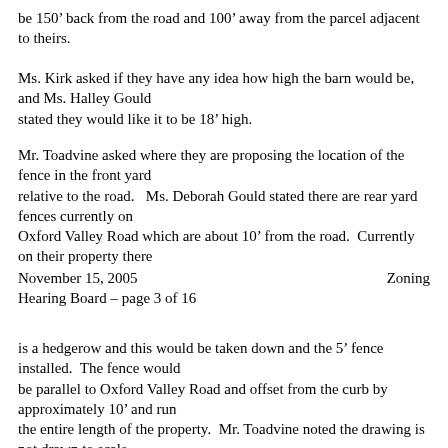be 150’ back from the road and 100’ away from the parcel adjacent to theirs.
Ms. Kirk asked if they have any idea how high the barn would be, and Ms. Halley Gould stated they would like it to be 18’ high.
Mr. Toadvine asked where they are proposing the location of the fence in the front yard relative to the road.   Ms. Deborah Gould stated there are rear yard fences currently on Oxford Valley Road which are about 10’ from the road.  Currently on their property there
November 15, 2005                                    Zoning Hearing Board – page 3 of 16
is a hedgerow and this would be taken down and the 5’ fence installed.  The fence would be parallel to Oxford Valley Road and offset from the curb by approximately 10’ and run the entire length of the property.  Mr. Toadvine noted the drawing is not drawn to scale,